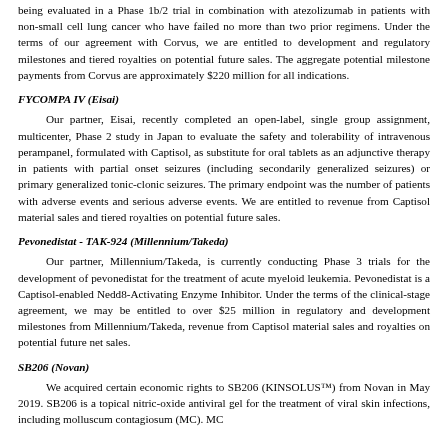being evaluated in a Phase 1b/2 trial in combination with atezolizumab in patients with non-small cell lung cancer who have failed no more than two prior regimens. Under the terms of our agreement with Corvus, we are entitled to development and regulatory milestones and tiered royalties on potential future sales. The aggregate potential milestone payments from Corvus are approximately $220 million for all indications.
FYCOMPA IV (Eisai)
Our partner, Eisai, recently completed an open-label, single group assignment, multicenter, Phase 2 study in Japan to evaluate the safety and tolerability of intravenous perampanel, formulated with Captisol, as substitute for oral tablets as an adjunctive therapy in patients with partial onset seizures (including secondarily generalized seizures) or primary generalized tonic-clonic seizures. The primary endpoint was the number of patients with adverse events and serious adverse events. We are entitled to revenue from Captisol material sales and tiered royalties on potential future sales.
Pevonedistat - TAK-924 (Millennium/Takeda)
Our partner, Millennium/Takeda, is currently conducting Phase 3 trials for the development of pevonedistat for the treatment of acute myeloid leukemia. Pevonedistat is a Captisol-enabled Nedd8-Activating Enzyme Inhibitor. Under the terms of the clinical-stage agreement, we may be entitled to over $25 million in regulatory and development milestones from Millennium/Takeda, revenue from Captisol material sales and royalties on potential future net sales.
SB206 (Novan)
We acquired certain economic rights to SB206 (KINSOLUS™) from Novan in May 2019. SB206 is a topical nitric-oxide antiviral gel for the treatment of viral skin infections, including molluscum contagiosum (MC). MC